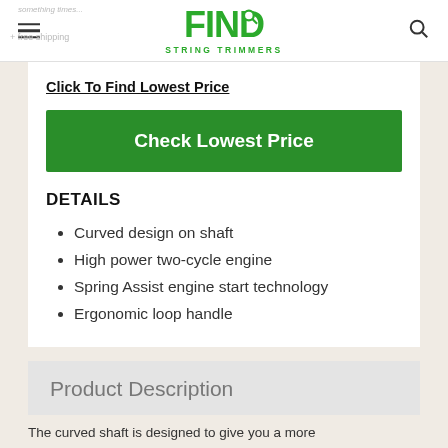FIND STRING TRIMMERS
Click To Find Lowest Price
Check Lowest Price
DETAILS
Curved design on shaft
High power two-cycle engine
Spring Assist engine start technology
Ergonomic loop handle
Product Description
The curved shaft is designed to give you a more